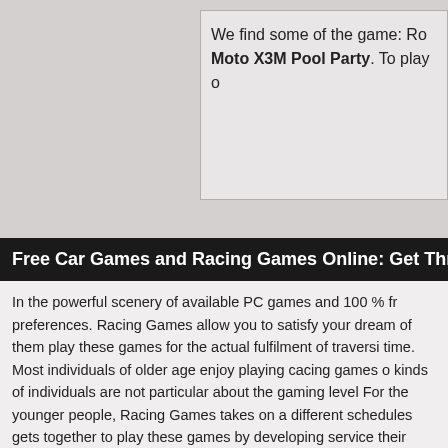We find some of the game: Ro Moto X3M Pool Party. To play o
Free Car Games and Racing Games Online: Get Thrill a
In the powerful scenery of available PC games and 100 % fr preferences. Racing Games allow you to satisfy your dream of them play these games for the actual fulfilment of traversi time. Most individuals of older age enjoy playing cacing games o kinds of individuals are not particular about the gaming level For the younger people, Racing Games takes on a different schedules gets together to play these games by developing service their responses after a long hard research and study These games just like other 100 % free online car parking g enjoying such activities on the internet are huge and vary in